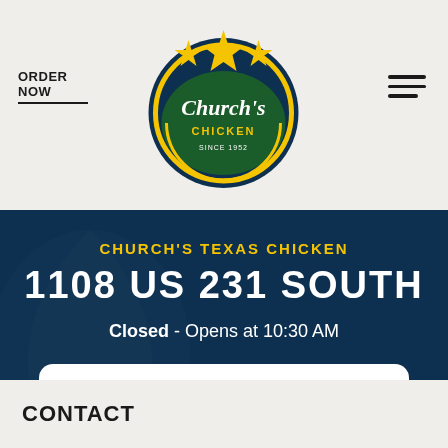[Figure (logo): Church's Chicken logo with stars and circular badge]
ORDER NOW
[Figure (illustration): Hamburger menu icon (three horizontal lines)]
CHURCH'S TEXAS CHICKEN
1108 US 231 SOUTH
Closed - Opens at 10:30 AM
[Figure (infographic): Action buttons panel with GET A RIDE (Uber), CALL (phone icon), DIRECTIONS (arrow icon)]
CONTACT